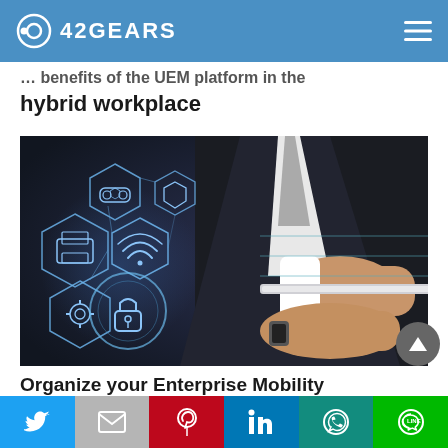42GEARS
… benefits of the UEM platform in the hybrid workplace
[Figure (photo): Businessman in dark suit holding a transparent tablet device with hexagonal UEM/IoT security icons floating on the left side — security lock, WiFi, printer, database, settings icons in a dark tech background]
Organize your Enterprise Mobility
Twitter | Gmail | Pinterest | LinkedIn | WhatsApp | LINE social share buttons